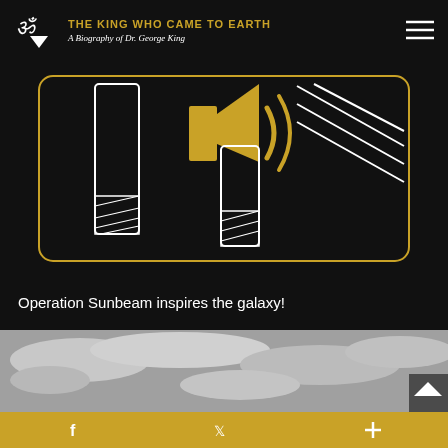THE KING WHO CAME TO EARTH — A Biography of Dr. George King
[Figure (illustration): Schematic illustration on dark background showing two vertical cylindrical tubes with hatched bases and gold/white geometric shapes between them, including a gold megaphone/speaker icon and gold radiation lines, enclosed in a rounded gold-bordered rectangle.]
Operation Sunbeam inspires the galaxy!
[Figure (photo): Black and white photograph showing a cloudy sky with a small back-to-top arrow button in the bottom-right corner.]
f  Twitter  +